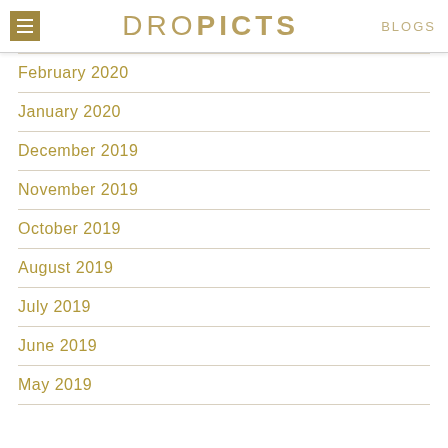DROPICTS  BLOGS
February 2020
January 2020
December 2019
November 2019
October 2019
August 2019
July 2019
June 2019
May 2019